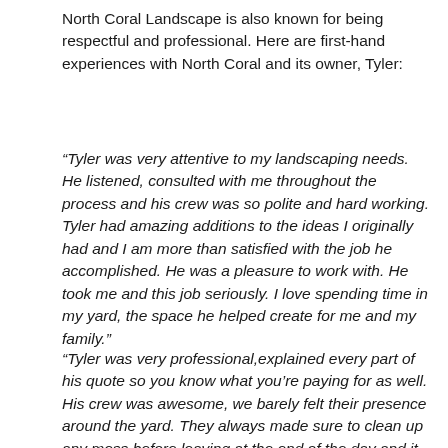North Coral Landscape is also known for being respectful and professional. Here are first-hand experiences with North Coral and its owner, Tyler:
“Tyler was very attentive to my landscaping needs. He listened, consulted with me throughout the process and his crew was so polite and hard working. Tyler had amazing additions to the ideas I originally had and I am more than satisfied with the job he accomplished. He was a pleasure to work with. He took me and this job seriously. I love spending time in my yard, the space he helped create for me and my family.”
“Tyler was very professional,explained every part of his quote so you know what you’re paying for as well. His crew was awesome, we barely felt their presence around the yard. They always made sure to clean up any mess before leaving at the end of the day and it was all done in 3 days,my brother got so jealous he asked them to work on his yard as well! highly recommend these guys, we love